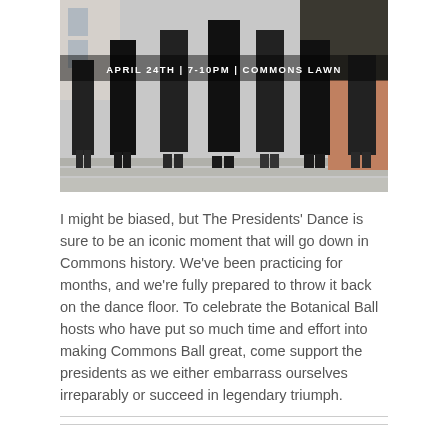[Figure (photo): Group of people in black formal attire standing on steps. Text overlay reads 'APRIL 24TH | 7-10PM | COMMONS LAWN']
I might be biased, but The Presidents' Dance is sure to be an iconic moment that will go down in Commons history. We've been practicing for months, and we're fully prepared to throw it back on the dance floor. To celebrate the Botanical Ball hosts who have put so much time and effort into making Commons Ball great, come support the presidents as we either embarrass ourselves irreparably or succeed in legendary triumph.